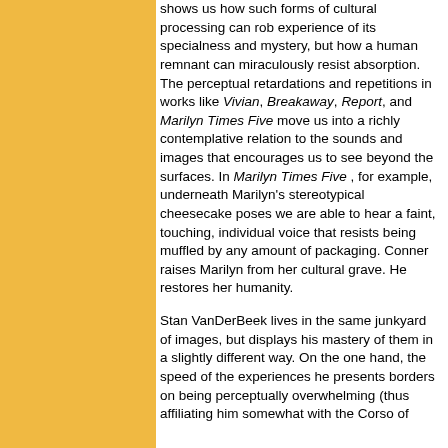shows us how such forms of cultural processing can rob experience of its specialness and mystery, but how a human remnant can miraculously resist absorption. The perceptual retardations and repetitions in works like Vivian, Breakaway, Report, and Marilyn Times Five move us into a richly contemplative relation to the sounds and images that encourages us to see beyond the surfaces. In Marilyn Times Five , for example, underneath Marilyn's stereotypical cheesecake poses we are able to hear a faint, touching, individual voice that resists being muffled by any amount of packaging. Conner raises Marilyn from her cultural grave. He restores her humanity.
Stan VanDerBeek lives in the same junkyard of images, but displays his mastery of them in a slightly different way. On the one hand, the speed of the experiences he presents borders on being perceptually overwhelming (thus affiliating him somewhat with the Corso of